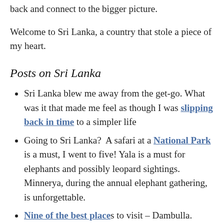back and connect to the bigger picture.
Welcome to Sri Lanka, a country that stole a piece of my heart.
Posts on Sri Lanka
Sri Lanka blew me away from the get-go. What was it that made me feel as though I was slipping back in time to a simpler life
Going to Sri Lanka? A safari at a National Park is a must, I went to five! Yala is a must for elephants and possibly leopard sightings. Minnerya, during the annual elephant gathering, is unforgettable.
Nine of the best places to visit – Dambulla. Arugam Bay, Ella, Galle, Haputale, Kandy,